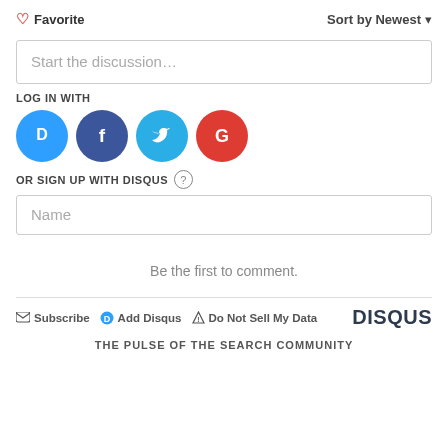♡ Favorite    Sort by Newest ▼
Start the discussion…
LOG IN WITH
[Figure (infographic): Four social login icons: Disqus (blue speech bubble D), Facebook (dark blue circle F), Twitter (light blue circle bird), Google (red circle G)]
OR SIGN UP WITH DISQUS ?
Name
Be the first to comment.
✉ Subscribe  D Add Disqus  ▲ Do Not Sell My Data    DISQUS
THE PULSE OF THE SEARCH COMMUNITY